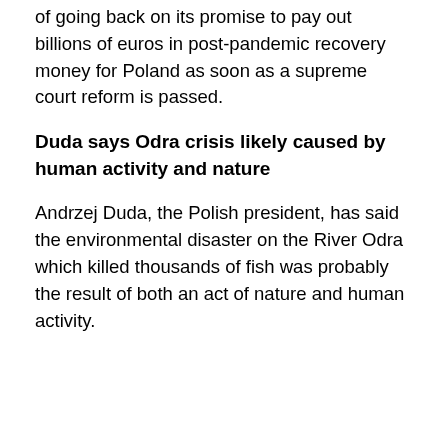of going back on its promise to pay out billions of euros in post-pandemic recovery money for Poland as soon as a supreme court reform is passed.
Duda says Odra crisis likely caused by human activity and nature
Andrzej Duda, the Polish president, has said the environmental disaster on the River Odra which killed thousands of fish was probably the result of both an act of nature and human activity.